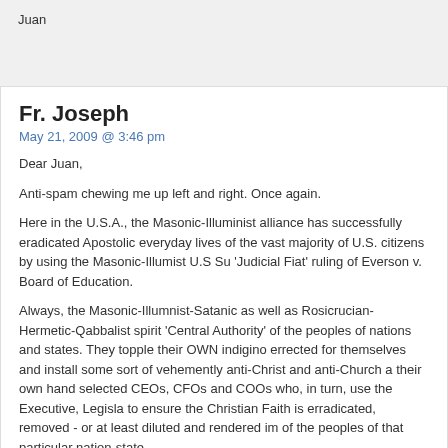Juan
Fr. Joseph
May 21, 2009 @ 3:46 pm
Dear Juan,
Anti-spam chewing me up left and right. Once again.
Here in the U.S.A., the Masonic-Illuminist alliance has successfully eradicated Apostolic everyday lives of the vast majority of U.S. citizens by using the Masonic-Illumist U.S Su 'Judicial Fiat' ruling of Everson v. Board of Education.
Always, the Masonic-Illumnist-Satanic as well as Rosicrucian-Hermetic-Qabbalist sprit 'Central Authority' of the peoples of nations and states. They topple their OWN indigino errected for themselves and install some sort of vehemently anti-Christ and anti-Church their own hand selected CEOs, CFOs and COOs who, in turn, use the Executive, Legisla to ensure the Christian Faith is erradicated, removed - or at least diluted and rendered im of the peoples of that particular nation-state.
- Fr. Joseph
Fr. Joseph